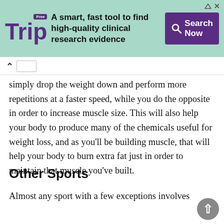[Figure (screenshot): Trip advertisement banner with teal background, Trip logo in purple, text 'A smart, fast tool to find high-quality clinical research evidence', purple Search Now button with magnifying glass icon]
simply drop the weight down and perform more repetitions at a faster speed, while you do the opposite in order to increase muscle size. This will also help your body to produce many of the chemicals useful for weight loss, and as you'll be building muscle, that will help your body to burn extra fat just in order to maintain that muscle you've built.
Other Sports
Almost any sport with a few exceptions involves